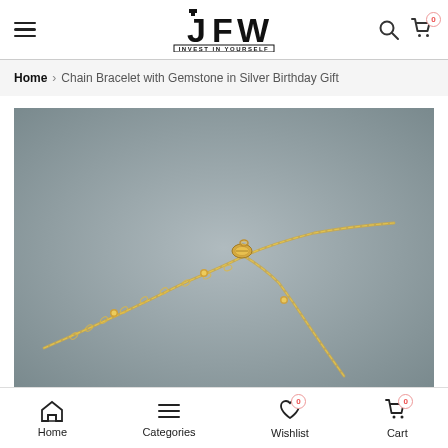JFW INVEST IN YOURSELF — navigation header with hamburger menu, logo, search and cart icons
Home > Chain Bracelet with Gemstone in Silver Birthday Gift
[Figure (photo): Close-up photo of a delicate gold chain bracelet with a lobster clasp on a grey background]
Home | Categories | Wishlist (0) | Cart (0)